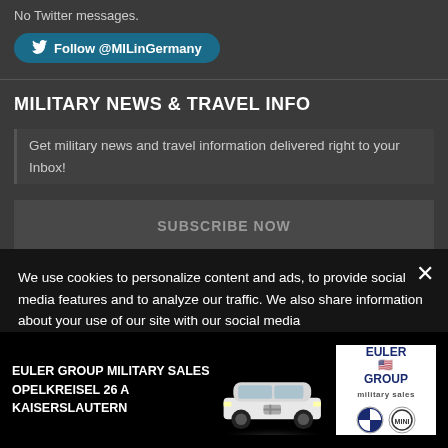No Twitter messages.
Follow @MILinGermany
MILITARY NEWS & TRAVEL INFO
Get military news and travel information delivered right to your Inbox!
SUBSCRIBE NOW
We use cookies to personalize content and ads, to provide social media features and to analyze our traffic. We also share information about your use of our site with our social media adverti... informa...
EULER GROUP MILITARY SALES
OPELKREISEL 26 A
KAISERSLAUTERN
[Figure (logo): Euler Group Military Sales logo with BMW and MINI icons]
[Figure (photo): White BMW car front view in advertisement]